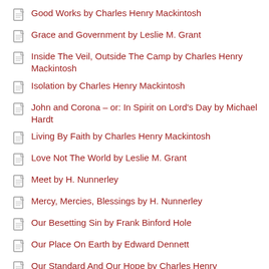Good Works by Charles Henry Mackintosh
Grace and Government by Leslie M. Grant
Inside The Veil, Outside The Camp by Charles Henry Mackintosh
Isolation by Charles Henry Mackintosh
John and Corona – or: In Spirit on Lord's Day by Michael Hardt
Living By Faith by Charles Henry Mackintosh
Love Not The World by Leslie M. Grant
Meet by H. Nunnerley
Mercy, Mercies, Blessings by H. Nunnerley
Our Besetting Sin by Frank Binford Hole
Our Place On Earth by Edward Dennett
Our Standard And Our Hope by Charles Henry Mackintosh
Personal Intercourse with God by Frank Binford Hole
Pride by A. T. Schofield
Progress and Prosperity by H. J. Vine